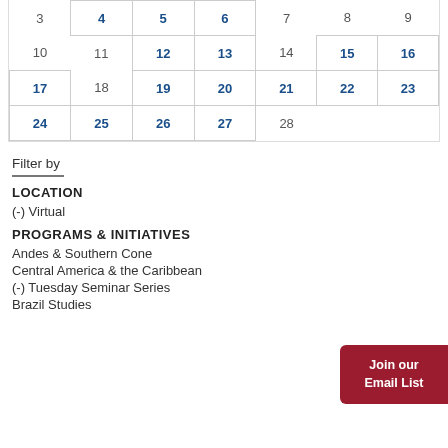| Sun | Mon | Tue | Wed | Thu | Fri | Sat |
| --- | --- | --- | --- | --- | --- | --- |
| 3 | 4 | 5 | 6 | 7 | 8 | 9 |
| 10 | 11 | 12 | 13 | 14 | 15 | 16 |
| 17 | 18 | 19 | 20 | 21 | 22 | 23 |
| 24 | 25 | 26 | 27 | 28 |  |  |
Filter by
LOCATION
(-) Virtual
PROGRAMS & INITIATIVES
Andes & Southern Cone
Central America & the Caribbean
(-) Tuesday Seminar Series
Brazil Studies
Join our Email List